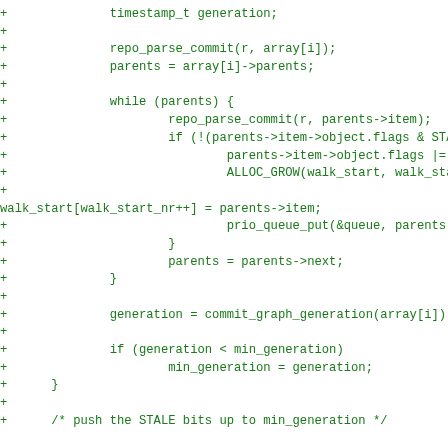Code diff showing C code with commit graph generation logic including repo_parse_commit, parent traversal, STALE flag setting, ALLOC_GROW, prio_queue_put, and commit_graph_generation calls.